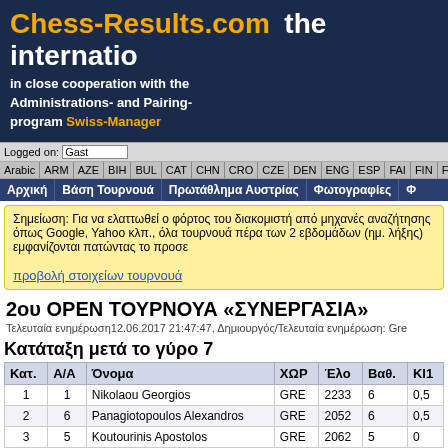Chess-Results.com  the internatio
in close cooperation with the Administrations- and Pairing-program Swiss-Manager
Logged on: Gast
Arabic | ARM | AZE | BIH | BUL | CAT | CHN | CRO | CZE | DEN | ENG | ESP | FAI | FIN | FRA | GER | GRE | INA
Αρχική | Βάση Τουρνουά | Πρωτάθλημα Αυστρίας | Φωτογραφίες | Φ
Σημείωση: Για να ελαττωθεί ο φόρτος του διακομιστή από μηχανές αναζήτησης όπως Google, Yahoo κλπ., όλα τουρνουά πέρα των 2 εβδομάδων (ημ. λήξης) εμφανίζονται πατώντας το προσε
προβολή στοιχείων τουρνουά
2ου OPEN ΤΟΥΡΝΟΥΑ «ΣΥΝΕΡΓΑΣΙΑ»
Τελευταία ενημέρωση12.06.2017 21:47:47, Δημιουργός/Τελευταία ενημέρωση: Gre
Κατάταξη μετά το γύρο 7
| Κατ. | Α/Α | Όνομα | ΧΩΡ | Έλο | Βαθ. | ΚΙ1 |
| --- | --- | --- | --- | --- | --- | --- |
| 1 | 1 | Nikolaou Georgios | GRE | 2233 | 6 | 0,5 |
| 2 | 6 | Panagiotopoulos Alexandros | GRE | 2052 | 6 | 0,5 |
| 3 | 5 | Koutourinis Apostolos | GRE | 2062 | 5 | 0 |
| 4 | 13 | Christidis Savvas | GRE | 1885 | 5 |  |